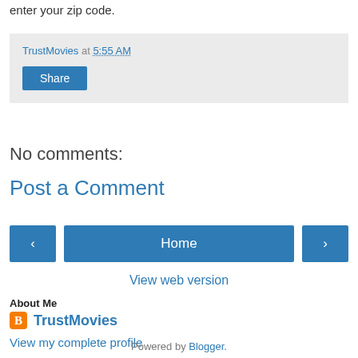enter your zip code.
TrustMovies at 5:55 AM
Share
No comments:
Post a Comment
‹
Home
›
View web version
About Me
TrustMovies
View my complete profile
Powered by Blogger.